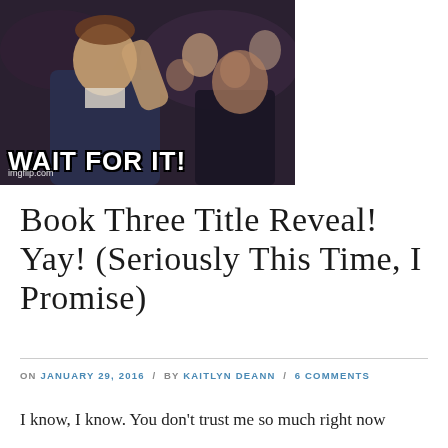[Figure (photo): Meme image showing a man in a dark jacket gesturing with his hand with text 'WAIT FOR IT!' and 'imgflip.com' watermark, audience visible in background.]
Book Three Title Reveal! YAY! (Seriously This Time, I Promise)
ON JANUARY 29, 2016 / BY KAITLYN DEANN / 6 COMMENTS
I know, I know. You don't trust me so much right now